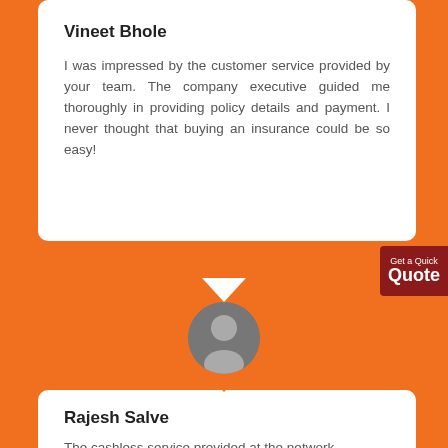Vineet Bhole
I was impressed by the customer service provided by your team. The company executive guided me thoroughly in providing policy details and payment. I never thought that buying an insurance could be so easy!
[Figure (illustration): Gray circular avatar with silhouette of a person]
Rajesh Salve
The cashless service provided at the network